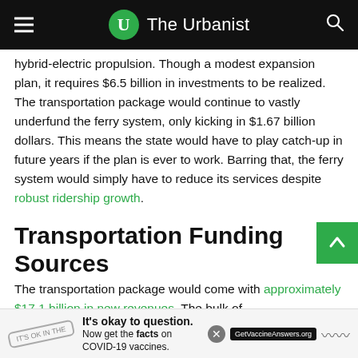The Urbanist
hybrid-electric propulsion. Though a modest expansion plan, it requires $6.5 billion in investments to be realized. The transportation package would continue to vastly underfund the ferry system, only kicking in $1.67 billion dollars. This means the state would have to play catch-up in future years if the plan is ever to work. Barring that, the ferry system would simply have to reduce its services despite robust ridership growth.
Transportation Funding Sources
The transportation package would come with approximately $17.1 billion in new revenues. The bulk of th... being dr... ources